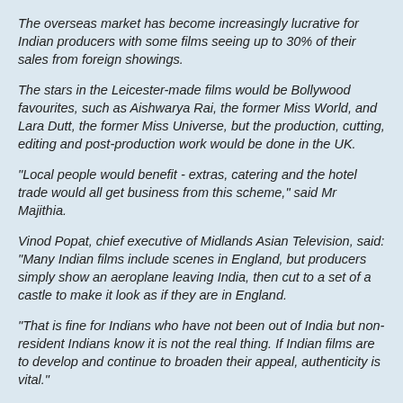The overseas market has become increasingly lucrative for Indian producers with some films seeing up to 30% of their sales from foreign showings.
The stars in the Leicester-made films would be Bollywood favourites, such as Aishwarya Rai, the former Miss World, and Lara Dutt, the former Miss Universe, but the production, cutting, editing and post-production work would be done in the UK.
"Local people would benefit - extras, catering and the hotel trade would all get business from this scheme," said Mr Majithia.
Vinod Popat, chief executive of Midlands Asian Television, said: "Many Indian films include scenes in England, but producers simply show an aeroplane leaving India, then cut to a set of a castle to make it look as if they are in England.
"That is fine for Indians who have not been out of India but non-resident Indians know it is not the real thing. If Indian films are to develop and continue to broaden their appeal, authenticity is vital."
Mr Saxena said the Leicester-made films would not veer too greatly from the established formula for Bollywood films.
"Frankly the reason the formula has been like this for so long is because it works and it is what the punter wants," Mr Saxena said.
Tags: None